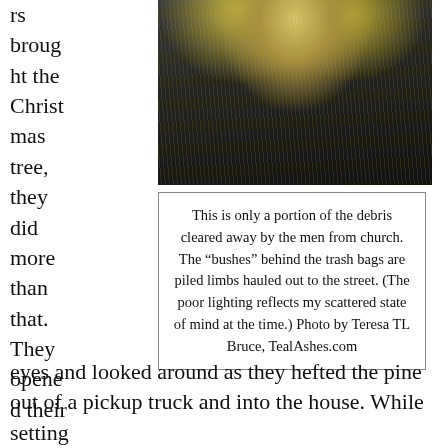rs brought the Christmas tree, they did more than that. They opened their
[Figure (photo): Close-up photo of pine tree branches and needles against a dark background, showing long grass-like needles radiating outward.]
This is only a portion of the debris cleared away by the men from church. The “bushes” behind the trash bags are piled limbs hauled out to the street. (The poor lighting reflects my scattered state of mind at the time.) Photo by Teresa TL Bruce, TealAshes.com
eyes and looked around as they hefted the pine out of a pickup truck and into the house. While setting